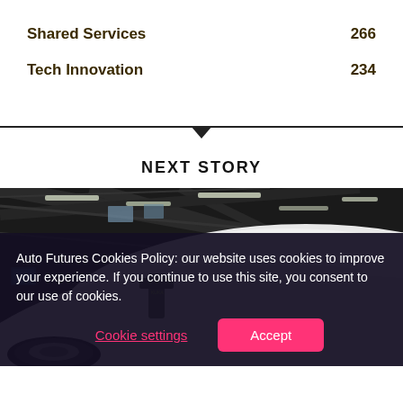Shared Services    266
Tech Innovation    234
NEXT STORY
[Figure (photo): Interior of an automotive workshop or showroom, viewed from a low angle showing a white car's hood and wheel with industrial ceiling structure and strip lighting above.]
Auto Futures Cookies Policy: our website uses cookies to improve your experience. If you continue to use this site, you consent to our use of cookies.
Cookie settings    Accept